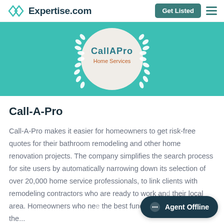Expertise.com | Get Listed
[Figure (logo): CallAPro Home Services award medallion with laurel wreath on teal background]
Call-A-Pro
Call-A-Pro makes it easier for homeowners to get risk-free quotes for their bathroom remodeling and other home renovation projects. The company simplifies the search process for site users by automatically narrowing down its selection of over 20,000 home service professionals, to link clients with remodeling contractors who are ready to work and their local area. Homeowners who nee the best functionality of their in the...